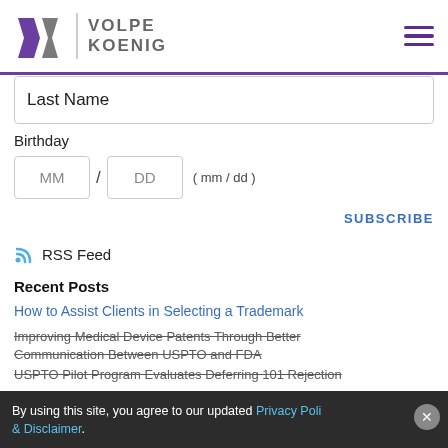Volpe Koenig
Last Name
Birthday
MM / DD ( mm / dd )
SUBSCRIBE
RSS Feed
Recent Posts
How to Assist Clients in Selecting a Trademark
Improving Medical Device Patents Through Better Communication Between USPTO and FDA
USPTO Pilot Program Evaluates Deferring 101 Rejection
By using this site, you agree to our updated Privacy Policy & Disclaimer.